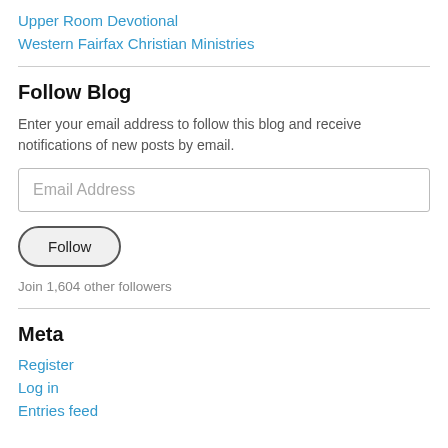Upper Room Devotional
Western Fairfax Christian Ministries
Follow Blog
Enter your email address to follow this blog and receive notifications of new posts by email.
Email Address
Follow
Join 1,604 other followers
Meta
Register
Log in
Entries feed